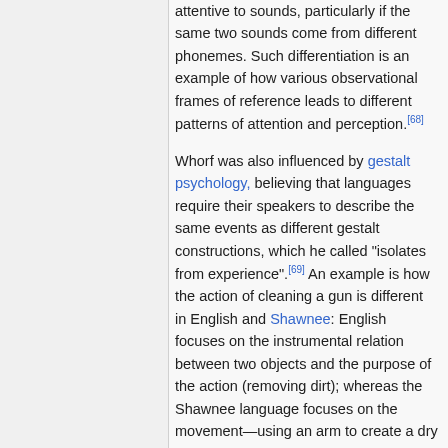attentive to sounds, particularly if the same two sounds come from different phonemes. Such differentiation is an example of how various observational frames of reference leads to different patterns of attention and perception.[68]
Whorf was also influenced by gestalt psychology, believing that languages require their speakers to describe the same events as different gestalt constructions, which he called "isolates from experience".[69] An example is how the action of cleaning a gun is different in English and Shawnee: English focuses on the instrumental relation between two objects and the purpose of the action (removing dirt); whereas the Shawnee language focuses on the movement—using an arm to create a dry space in a hole. The event described is the same,